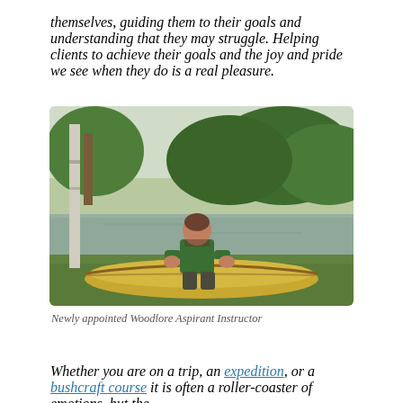themselves, guiding them to their goals and understanding that they may struggle. Helping clients to achieve their goals and the joy and pride we see when they do is a real pleasure.
[Figure (photo): A man in a green shirt crouching next to a yellow canoe on a grassy area near a lake, with trees in the background.]
Newly appointed Woodlore Aspirant Instructor
Whether you are on a trip, an expedition, or a bushcraft course it is often a roller-coaster of emotions, but the